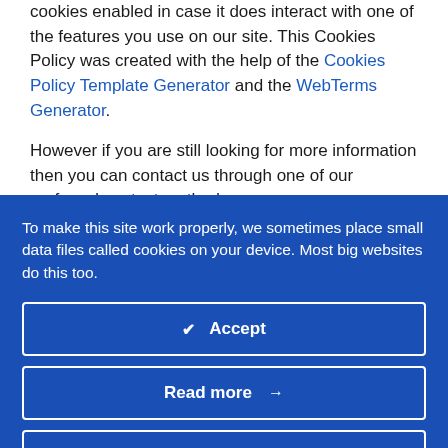cookies enabled in case it does interact with one of the features you use on our site. This Cookies Policy was created with the help of the Cookies Policy Template Generator and the WebTerms Generator.
However if you are still looking for more information then you can contact us through one of our preferred contact methods:
To make this site work properly, we sometimes place small data files called cookies on your device. Most big websites do this too.
✔ Accept
Read more →
Change Settings ⚙